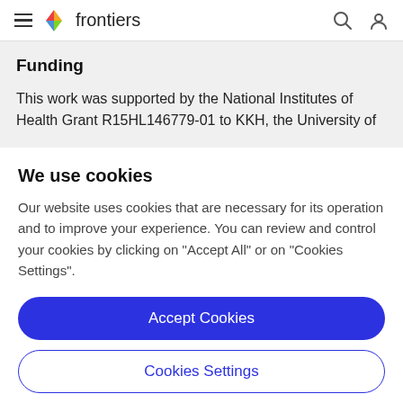frontiers
Funding
This work was supported by the National Institutes of Health Grant R15HL146779-01 to KKH, the University of
We use cookies
Our website uses cookies that are necessary for its operation and to improve your experience. You can review and control your cookies by clicking on "Accept All" or on "Cookies Settings".
Accept Cookies
Cookies Settings